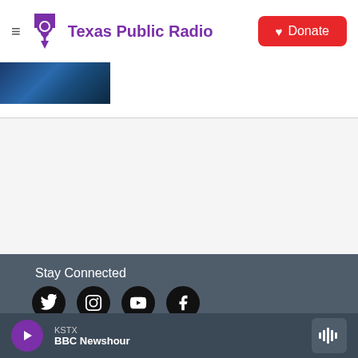Texas Public Radio — Donate
[Figure (screenshot): Partial blue image strip showing a concert or event scene]
Stay Connected
[Figure (infographic): Social media icons: Twitter, Instagram, YouTube, Facebook — black circles with white icons]
© 2022 Texas Public Radio
About Us
Employment
KSTX  BBC Newshour